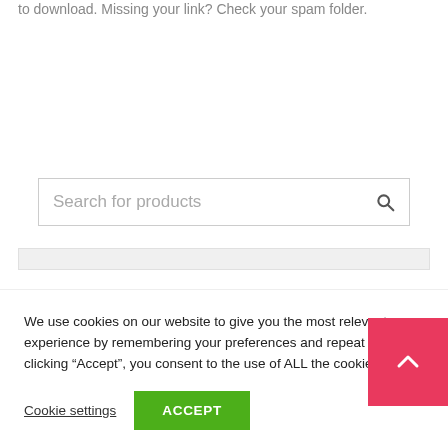to download. Missing your link? Check your spam folder.
Search for products
We use cookies on our website to give you the most relevant experience by remembering your preferences and repeat visits. By clicking “Accept”, you consent to the use of ALL the cookies.
Cookie settings
ACCEPT